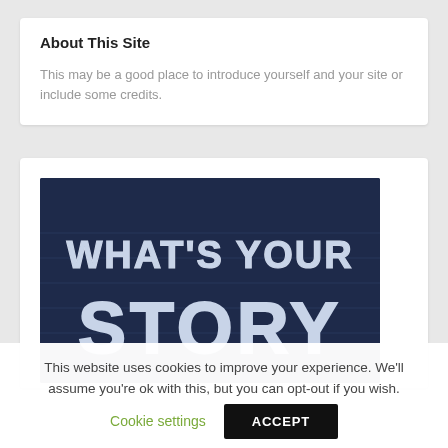About This Site
This may be a good place to introduce yourself and your site or include some credits.
[Figure (photo): Chalkboard with text 'WHAT'S YOUR STORY' written in white chalk letters on a dark blue background]
This website uses cookies to improve your experience. We'll assume you're ok with this, but you can opt-out if you wish.
Cookie settings | ACCEPT